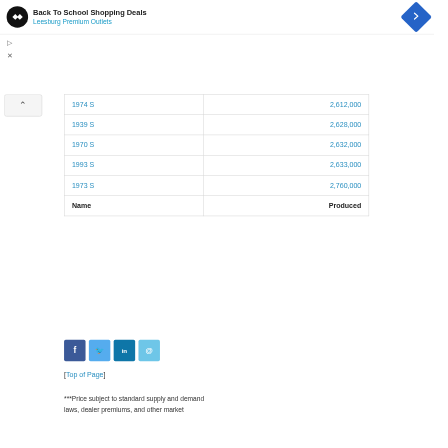[Figure (screenshot): Ad banner: Back To School Shopping Deals - Leesburg Premium Outlets with logo and navigation arrow icon]
| Name | Produced |
| --- | --- |
| 1974 S | 2,612,000 |
| 1939 S | 2,628,000 |
| 1970 S | 2,632,000 |
| 1993 S | 2,633,000 |
| 1973 S | 2,760,000 |
| Name | Produced |
[Figure (infographic): Social sharing buttons: Facebook, Twitter, LinkedIn, Email]
[Top of Page]
***Price subject to standard supply and demand laws, dealer premiums, and other market